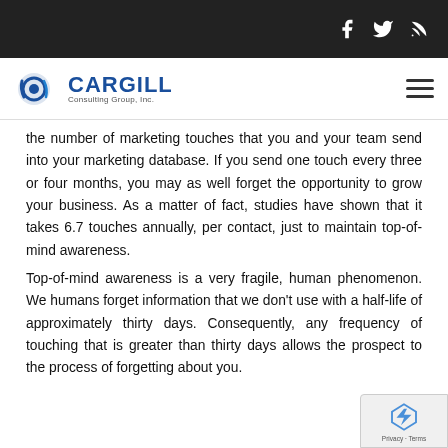Cargill Consulting Group, Inc. — navigation bar with social icons
the number of marketing touches that you and your team send into your marketing database. If you send one touch every three or four months, you may as well forget the opportunity to grow your business. As a matter of fact, studies have shown that it takes 6.7 touches annually, per contact, just to maintain top-of-mind awareness.
Top-of-mind awareness is a very fragile, human phenomenon. We humans forget information that we don't use with a half-life of approximately thirty days. Consequently, any frequency of touching that is greater than thirty days allows the prospect to the process of forgetting about you.